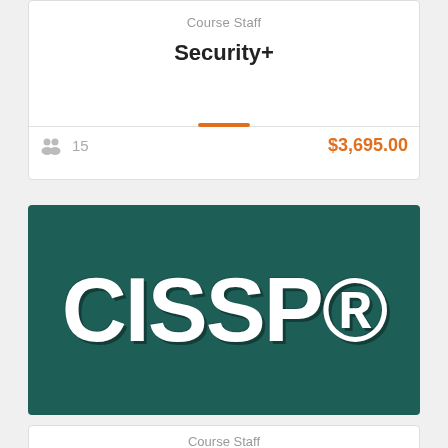Course Staff
Security+
15   $3,695.00
[Figure (illustration): CISSP® logo text on dark teal/green background]
Course Staff
CISSP Certified Information Systems